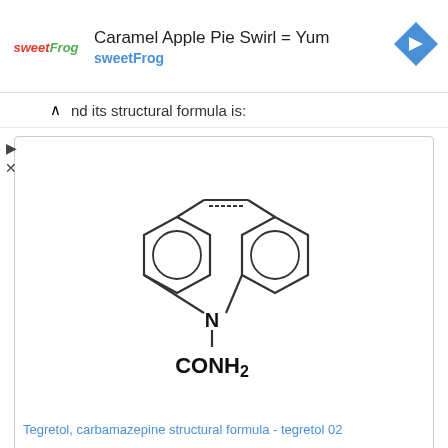[Figure (logo): sweetFrog logo — red and green italic text]
Caramel Apple Pie Swirl = Yum
sweetFrog
[Figure (other): Blue diamond navigation arrow icon]
nd its structural formula is:
[Figure (engineering-diagram): Structural chemical formula of Tegretol (carbamazepine) showing two benzene rings connected by a seven-membered ring with N at the bottom and CONH2 group]
Tegretol, carbamazepine structural formula - tegretol 02